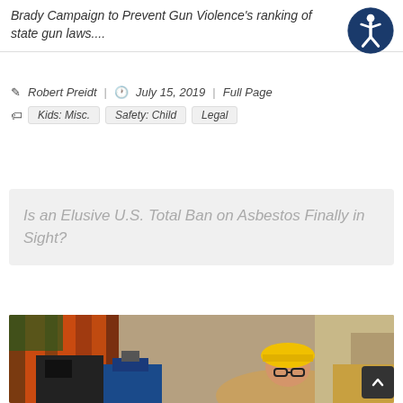Brady Campaign to Prevent Gun Violence's ranking of state gun laws....
Robert Preidt | July 15, 2019 | Full Page
Kids: Misc. | Safety: Child | Legal
Is an Elusive U.S. Total Ban on Asbestos Finally in Sight?
[Figure (photo): A factory worker wearing a yellow hard hat and glasses, surrounded by industrial machinery and hanging orange curtains in a warehouse setting.]